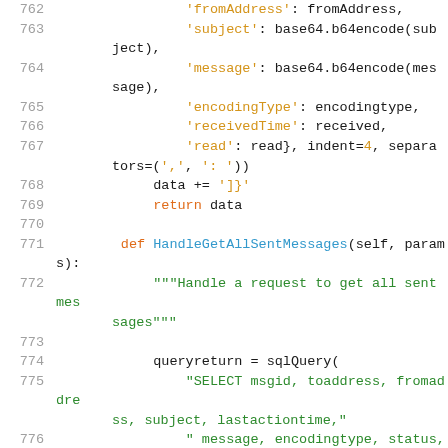[Figure (screenshot): Python source code snippet showing lines 762-777, including dictionary keys for email message fields and a method HandleGetAllSentMessages with a SQL query.]